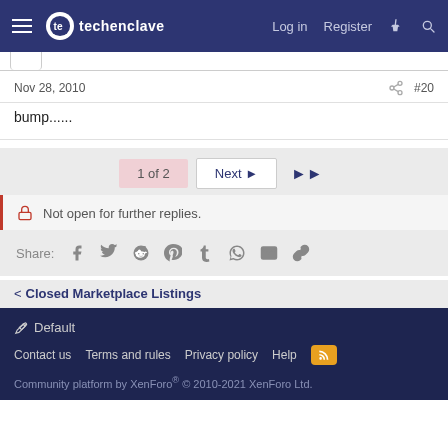techenclave — Log in | Register
Nov 28, 2010   #20
bump......
1 of 2   Next ▶▶
🔒 Not open for further replies.
Share: [social icons]
< Closed Marketplace Listings
Default | Contact us | Terms and rules | Privacy policy | Help | Community platform by XenForo® © 2010-2021 XenForo Ltd.